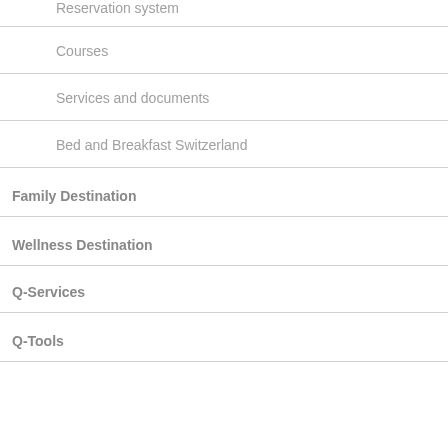Reservation system
Courses
Services and documents
Bed and Breakfast Switzerland
Family Destination
Wellness Destination
Q-Services
Q-Tools